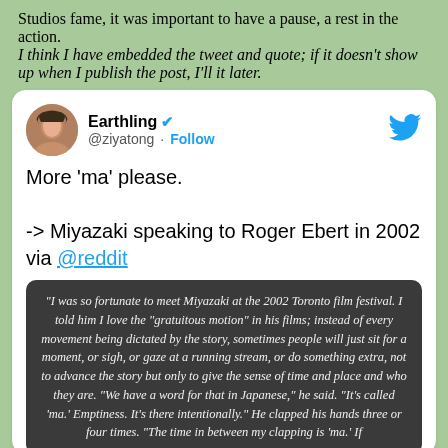Studios fame, it was important to have a pause, a rest in the action. I think I have embedded the tweet and quote; if it doesn't show up when I publish the post, I'll it later.
[Figure (screenshot): Embedded tweet from @ziyatong (Earthling, verified) saying 'More \'ma\' please.' and '-> Miyazaki speaking to Roger Ebert in 2002 via @reddit', with a dark quote block about Miyazaki at the 2002 Toronto film festival discussing 'ma' (emptiness).]